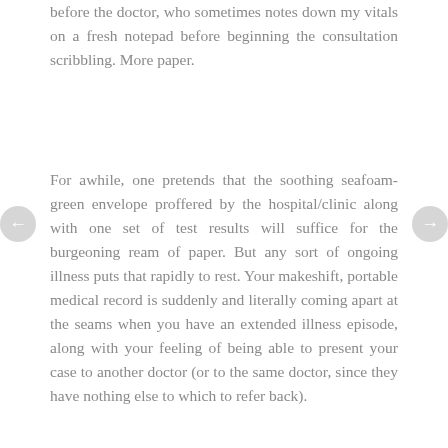before the doctor, who sometimes notes down my vitals on a fresh notepad before beginning the consultation scribbling. More paper.
For awhile, one pretends that the soothing seafoam-green envelope proffered by the hospital/clinic along with one set of test results will suffice for the burgeoning ream of paper. But any sort of ongoing illness puts that rapidly to rest. Your makeshift, portable medical record is suddenly and literally coming apart at the seams when you have an extended illness episode, along with your feeling of being able to present your case to another doctor (or to the same doctor, since they have nothing else to which to refer back).